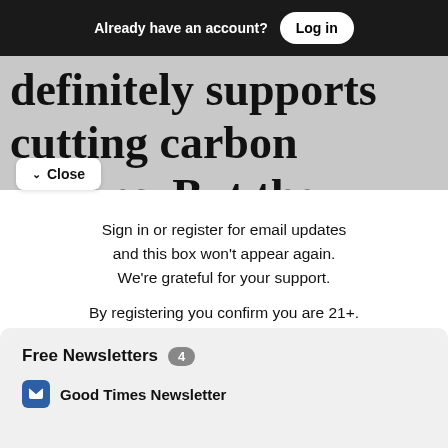Already have an account? Log in
definitely supports cutting carbon emissions. But the opinion from an
Close
Sign in or register for email updates and this box won't appear again. We're grateful for your support.
By registering you confirm you are 21+.
Free Newsletters 4
Good Times Newsletter